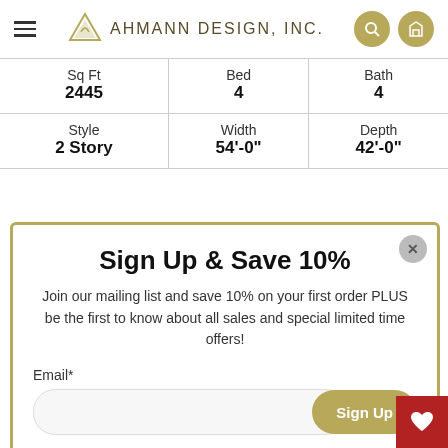Ahmann Design, Inc.
| Sq Ft | Bed | Bath |
| --- | --- | --- |
| 2445 | 4 | 4 |
| Style / 2 Story | Width / 54'-0" | Depth / 42'-0" |
Sign Up & Save 10%
Join our mailing list and save 10% on your first order PLUS be the first to know about all sales and special limited time offers!
Email*